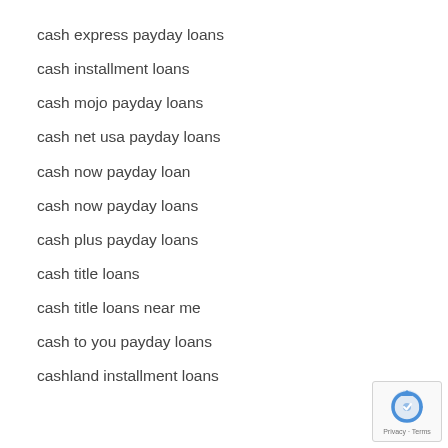cash express payday loans
cash installment loans
cash mojo payday loans
cash net usa payday loans
cash now payday loan
cash now payday loans
cash plus payday loans
cash title loans
cash title loans near me
cash to you payday loans
cashland installment loans